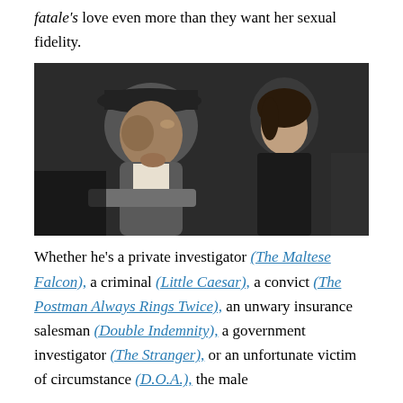fatale's love even more than they want her sexual fidelity.
[Figure (photo): Black and white film still showing a man in a wide-brimmed hat reclining and looking upward, with a woman in dark clothing looking at him from behind.]
Whether he's a private investigator (The Maltese Falcon), a criminal (Little Caesar), a convict (The Postman Always Rings Twice), an unwary insurance salesman (Double Indemnity), a government investigator (The Stranger), or an unfortunate victim of circumstance (D.O.A.), the male protagonist of Film Noir is in